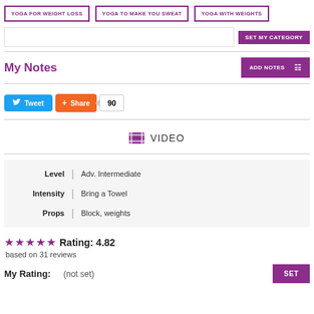YOGA FOR WEIGHT LOSS
YOGA TO MAKE YOU SWEAT
YOGA WITH WEIGHTS
SET MY CATEGORY
My Notes
ADD NOTES
Tweet  Share  90
VIDEO
| Field | Value |
| --- | --- |
| Level | Adv. Intermediate |
| Intensity | Bring a Towel |
| Props | Block, weights |
★★★★★ Rating: 4.82
based on 31 reviews
My Rating:   (not set)
SET